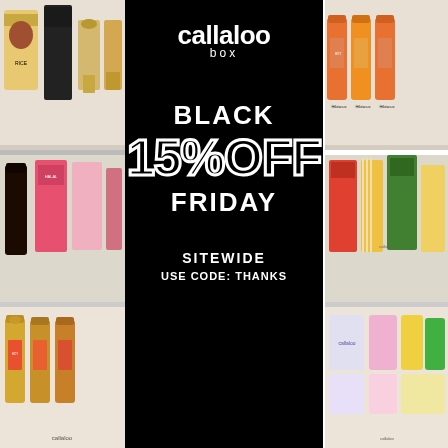[Figure (infographic): Callaloo Box Black Friday promotional advertisement showing 15% off sitewide with code THANKS, flanked by Caribbean grocery product images on shelves]
callaloo box
BLACK
15%OFF
FRIDAY
SITEWIDE
USE CODE: THANKS